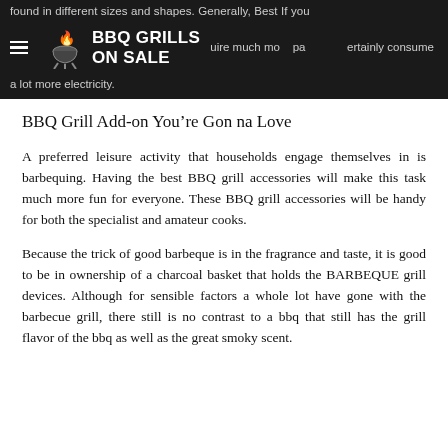found in different sizes and shapes. Generally, Best If you require much more space, it will certainly consume a lot more electricity.
BBQ GRILLS ON SALE
BBQ Grill Add-on You’re Gon na Love
A preferred leisure activity that households engage themselves in is barbequing. Having the best BBQ grill accessories will make this task much more fun for everyone. These BBQ grill accessories will be handy for both the specialist and amateur cooks.
Because the trick of good barbeque is in the fragrance and taste, it is good to be in ownership of a charcoal basket that holds the BARBEQUE grill devices. Although for sensible factors a whole lot have gone with the barbecue grill, there still is no contrast to a bbq that still has the grill flavor of the bbq as well as the great smoky scent.